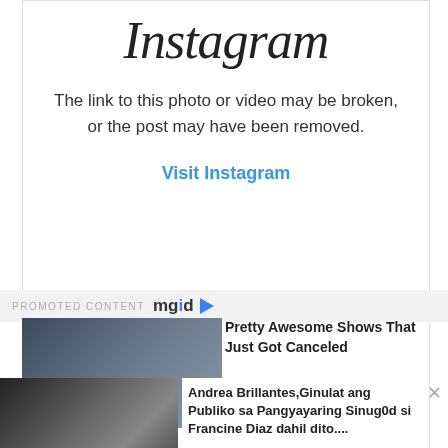[Figure (screenshot): Instagram logo text in cursive/italic font]
The link to this photo or video may be broken, or the post may have been removed.
Visit Instagram
[Figure (screenshot): PROMOTED CONTENT mgid logo with play icon]
[Figure (photo): Thumbnail image for article: Pretty Awesome Shows That Just Got Canceled]
Pretty Awesome Shows That Just Got Canceled
[Figure (photo): Thumbnail image for article: Andrea Brillantes, Ginulat ang Publiko sa Pangyayaring Sinug0d si Francine Diaz dahil dito....]
Andrea Brillantes,Ginulat ang Publiko sa Pangyayaring Sinug0d si Francine Diaz dahil dito....